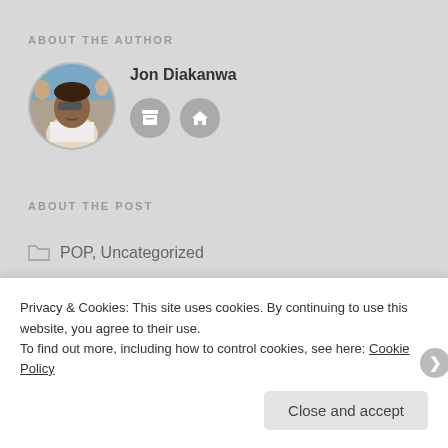ABOUT THE AUTHOR
[Figure (photo): Circular avatar photo of Jon Diakanwa]
Jon Diakanwa
[Figure (infographic): Two circular icon buttons (archive and home) below author name]
ABOUT THE POST
POP,  Uncategorized
Privacy & Cookies: This site uses cookies. By continuing to use this website, you agree to their use.
To find out more, including how to control cookies, see here: Cookie Policy
Close and accept